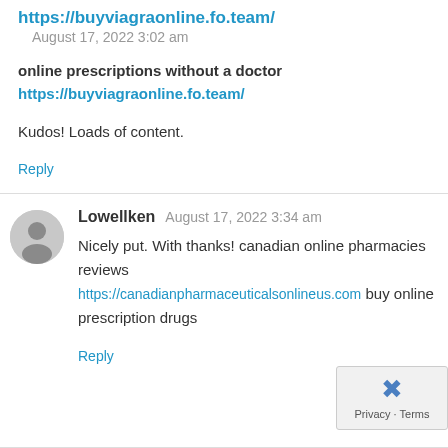https://buyviagraonline.fo.team/   August 17, 2022 3:02 am
online prescriptions without a doctor https://buyviagraonline.fo.team/
Kudos! Loads of content.
Reply
Lowellken   August 17, 2022 3:34 am
Nicely put. With thanks! canadian online pharmacies reviews https://canadianpharmaceuticalsonlineus.com buy online prescription drugs
Reply